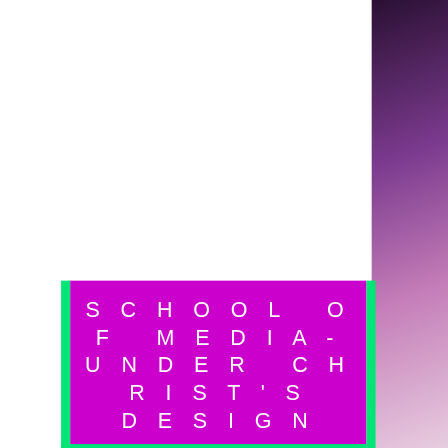[Figure (infographic): Promotional card for School of Media-Under Christ's Design with purple and yellow sections on a dark purple/pink background]
SCHOOL OF MEDIA-UNDER CHRIST'S DESIGN
PHONE: 605-630-4813
Enter your email here*
Subscribe Now